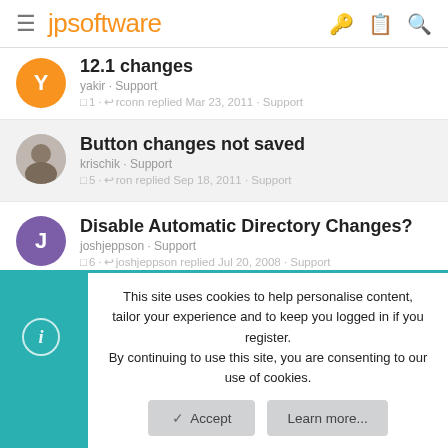jpsoftware
12.1 changes
yakir · Support
1 · rconn replied Mar 23, 2011 · Support
Button changes not saved
krischik · Support
5 · ron replied Sep 18, 2011 · Support
Disable Automatic Directory Changes?
joshjeppson · Support
6 · joshjeppson replied Jul 20, 2008 · Support
This site uses cookies to help personalise content, tailor your experience and to keep you logged in if you register.
By continuing to use this site, you are consenting to our use of cookies.
Accept    Learn more...